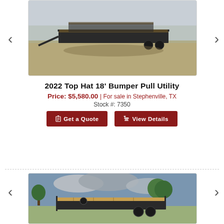[Figure (photo): Photo of a 2022 Top Hat 18' Bumper Pull Utility trailer on a dry grass field, black metal frame with wood deck, multiple units visible in background.]
2022 Top Hat 18' Bumper Pull Utility
Price: $5,580.00 | For sale in Stephenville, TX
Stock #: 7350
Get a Quote
View Details
[Figure (photo): Photo of a utility trailer with wooden deck floor and black metal frame, parked in a field with trees and cloudy sky in background.]